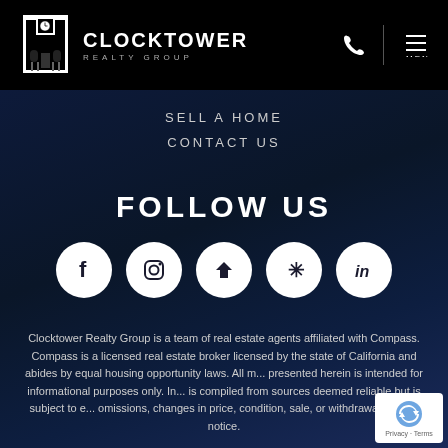[Figure (logo): Clocktower Realty Group logo with clock tower icon and text]
SELL A HOME
CONTACT US
FOLLOW US
[Figure (illustration): Five social media icons in white circles: Facebook, Instagram, Zillow, Yelp, LinkedIn]
Clocktower Realty Group is a team of real estate agents affiliated with Compass. Compass is a licensed real estate broker licensed by the state of California and abides by equal housing opportunity laws. All m... presented herein is intended for informational purposes only. In... is compiled from sources deemed reliable but is subject to e... omissions, changes in price, condition, sale, or withdrawal without notice.